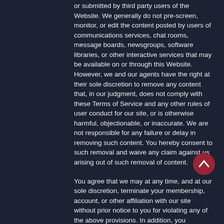or submitted by third party users of the Website. We generally do not pre-screen, monitor, or edit the content posted by users of communications services, chat rooms, message boards, newsgroups, software libraries, or other interactive services that may be available on or through this Website. However, we and our agents have the right at their sole discretion to remove any content that, in our judgment, does not comply with these Terms of Service and any other rules of user conduct for our site, or is otherwise harmful, objectionable, or inaccurate. We are not responsible for any failure or delay in removing such content. You hereby consent to such removal and waive any claim against us arising out of such removal of content.
You agree that we may at any time, and at our sole discretion, terminate your membership, account, or other affiliation with our site without prior notice to you for violating any of the above provisions. In addition, you acknowledge that we will...